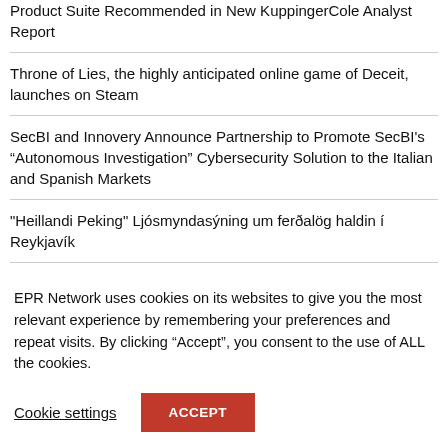Product Suite Recommended in New KuppingerCole Analyst Report
Throne of Lies, the highly anticipated online game of Deceit, launches on Steam
SecBI and Innovery Announce Partnership to Promote SecBI's “Autonomous Investigation” Cybersecurity Solution to the Italian and Spanish Markets
"Heillandi Peking" Ljósmyndasýning um ferðalög haldin í Reykjavík
Grammy Winner Coolio & Wrestling Legend Virgil on an
EPR Network uses cookies on its websites to give you the most relevant experience by remembering your preferences and repeat visits. By clicking “Accept”, you consent to the use of ALL the cookies.
Cookie settings
ACCEPT